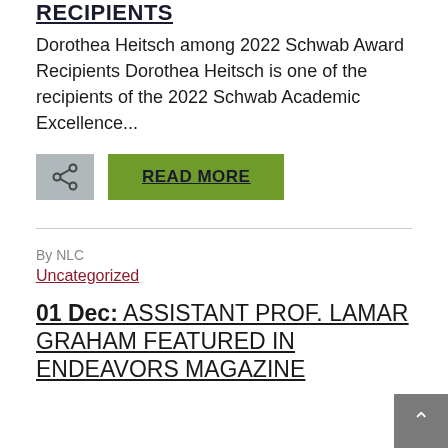RECIPIENTS
Dorothea Heitsch among 2022 Schwab Award Recipients Dorothea Heitsch is one of the recipients of the 2022 Schwab Academic Excellence...
READ MORE
By NLC
Uncategorized
01 Dec: ASSISTANT PROF. LAMAR GRAHAM FEATURED IN ENDEAVORS MAGAZINE